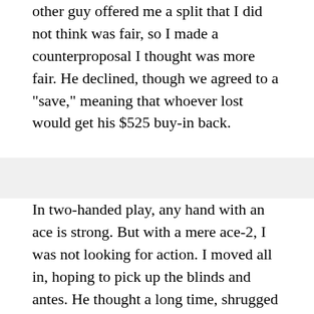other guy offered me a split that I did not think was fair, so I made a counterproposal I thought was more fair. He declined, though we agreed to a "save," meaning that whoever lost would get his $525 buy-in back.
In two-handed play, any hand with an ace is strong. But with a mere ace-2, I was not looking for action. I moved all in, hoping to pick up the blinds and antes. He thought a long time, shrugged his shoulders and said "you have the best hand, but I'll gamble with you." He turned over the 5 and 6 of spades. The flop was J-9-2, with one spade. I was a big favorite. Fourth street was another J. At that point, unless he caught a